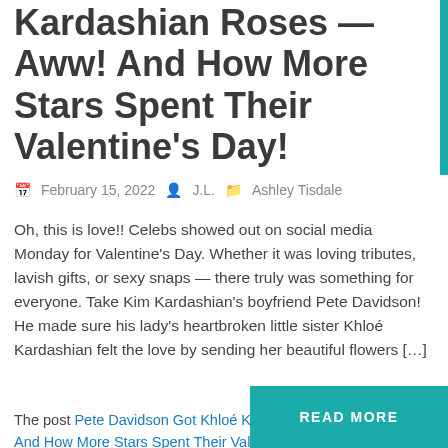Kardashian Roses — Aww! And How More Stars Spent Their Valentine's Day!
February 15, 2022  J.L.  Ashley Tisdale
Oh, this is love!! Celebs showed out on social media Monday for Valentine's Day. Whether it was loving tributes, lavish gifts, or sexy snaps — there truly was something for everyone. Take Kim Kardashian's boyfriend Pete Davidson! He made sure his lady's heartbroken little sister Khloé Kardashian felt the love by sending her beautiful flowers […]
Read More…
The post Pete Davidson Got Khloé Kardashian Roses — Aww! And How More Stars Spent Their Valentine's Day! appeared first on Perez Hilton.